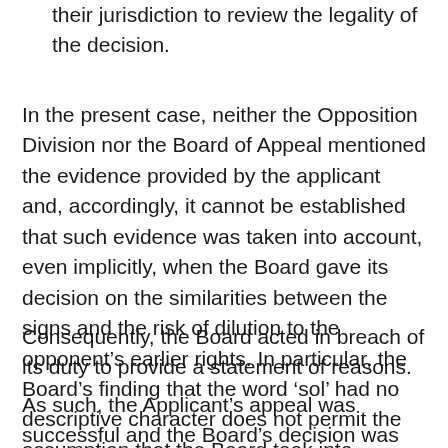enable the Courts of the European Union to exercise their jurisdiction to review the legality of the decision.
In the present case, neither the Opposition Division nor the Board of Appeal mentioned the evidence provided by the applicant and, accordingly, it cannot be established that such evidence was taken into account, even implicitly, when the Board gave its decision on the similarities between the signs and the risk of dilution to the opponent’s earlier rights. In particular, the Board’s finding that the word ‘sol’ had no descriptive character does not permit the assumption that the Board took into account the evidence.
Consequently, the Board acted in breach of its duty to provide a statement of reasons.
As such, the Applicant’s appeal was successful and the Board’s decision was annulled.